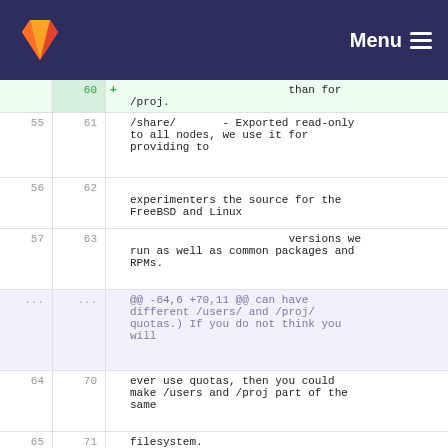GitLab navigation bar with logo and Menu button
quotas
60  +                              than for /proj.
55  61  /share/       - Exported read-only to all nodes, we use it for providing to
56  62  experimenters the source for the FreeBSD and Linux
57  63                                 versions we run as well as common packages and RPMs.
... ...  @@ -64,6 +70,11 @@ can have different /users/ and /proj/ quotas.) If you do not think you will
64  70  ever use quotas, then you could make /users and /proj part of the same
65  71  filesystem.